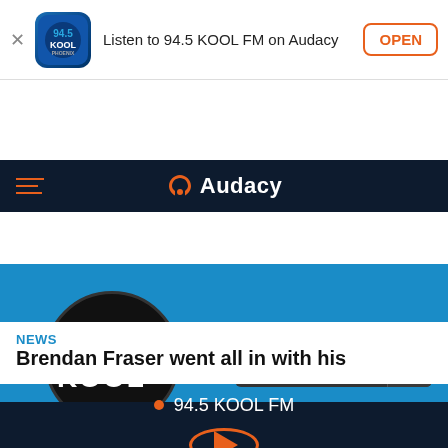[Figure (screenshot): App install banner: 94.5 KOOL FM app icon on left, text 'Listen to 94.5 KOOL FM on Audacy', OPEN button on right]
Listen to 94.5 KOOL FM on Audacy
[Figure (logo): Audacy navigation bar with hamburger menu and Audacy logo]
[Figure (logo): 94.5 KOOL FM station logo circle with LISTEN button]
NEWS
Brendan Fraser went all in with his
94.5 KOOL FM
[Figure (illustration): Orange circular play button on dark navy background]